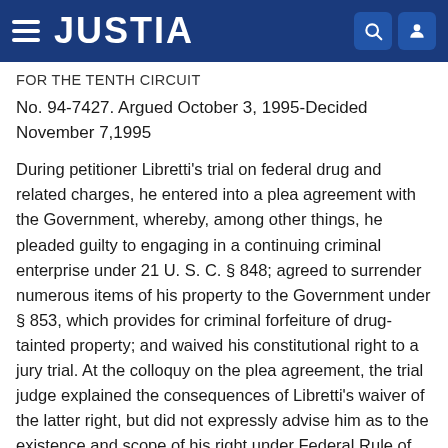JUSTIA
FOR THE TENTH CIRCUIT
No. 94-7427. Argued October 3, 1995-Decided November 7,1995
During petitioner Libretti's trial on federal drug and related charges, he entered into a plea agreement with the Government, whereby, among other things, he pleaded guilty to engaging in a continuing criminal enterprise under 21 U. S. C. § 848; agreed to surrender numerous items of his property to the Government under § 853, which provides for criminal forfeiture of drug-tainted property; and waived his constitutional right to a jury trial. At the colloquy on the plea agreement, the trial judge explained the consequences of Libretti's waiver of the latter right, but did not expressly advise him as to the existence and scope of his right under Federal Rule of Criminal Procedure 31(e) to a